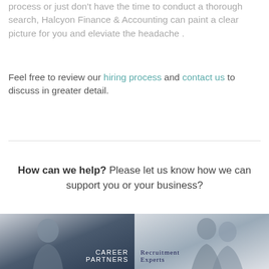process or just don't have the time to conduct a thorough search, Halcyon Finance & Accounting can paint a clear picture for you and eleviate the headache .
Feel free to review our hiring process and contact us to discuss in greater detail.
How can we help? Please let us know how we can support you or your business?
[Figure (photo): Photo of a woman with text overlay reading CAREER PARTNERS]
[Figure (photo): Photo of two people in discussion with text overlay reading RECRUITMENT EXPERTS]